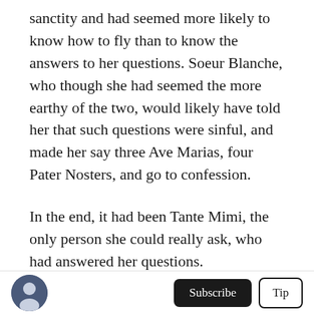sanctity and had seemed more likely to know how to fly than to know the answers to her questions. Soeur Blanche, who though she had seemed the more earthy of the two, would likely have told her that such questions were sinful, and made her say three Ave Marias, four Pater Nosters, and go to confession.
In the end, it had been Tante Mimi, the only person she could really ask, who had answered her questions.
After taking care of her issue, Marianne went and
Subscribe  Tip